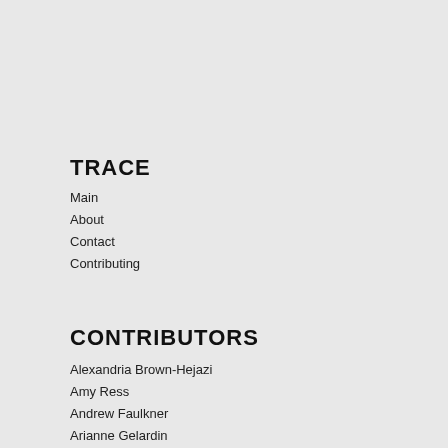TRACE
Main
About
Contact
Contributing
CONTRIBUTORS
Alexandria Brown-Hejazi
Amy Ress
Andrew Faulkner
Arianne Gelardin
Brad Leibin